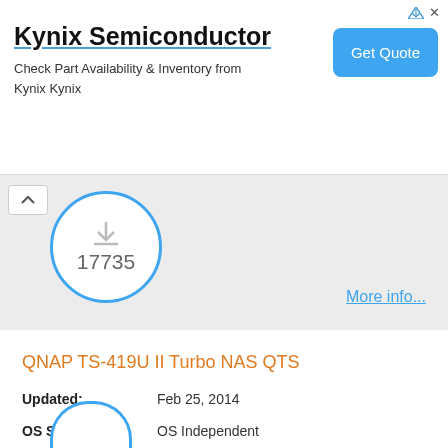[Figure (screenshot): Advertisement banner for Kynix Semiconductor with 'Get Quote' button]
17735
More info...
QNAP TS-419U II Turbo NAS QTS
Updated: Feb 25, 2014
OS Supported: OS Independent
License: Free